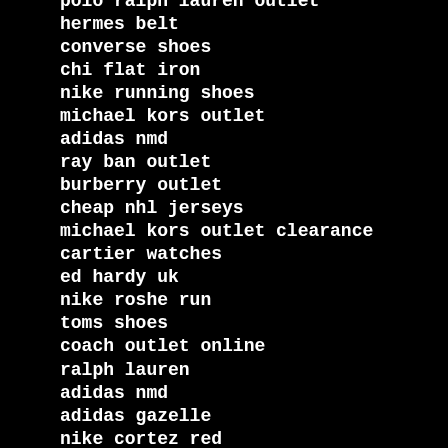polo ralph lauren outlet
hermes belt
converse shoes
chi flat iron
nike running shoes
michael kors outlet
adidas nmd
ray ban outlet
burberry outlet
cheap nhl jerseys
michael kors outlet clearance
cartier watches
ed hardy uk
nike roshe run
toms shoes
coach outlet online
ralph lauren
adidas nmd
adidas gazelle
nike cortez red
skechers outlet
burberry uk
coach outlet online